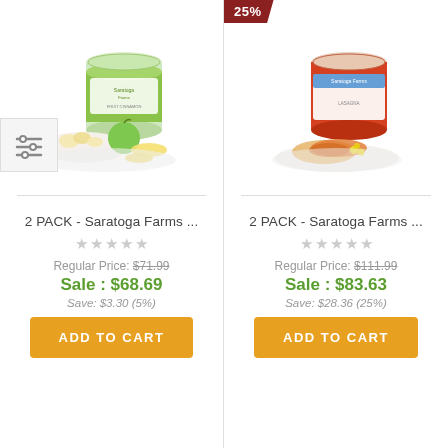[Figure (photo): Product photo of 2 PACK - Saratoga Farms canned fruit with bowl of fruit pieces and green apple on plate]
2 PACK - Saratoga Farms ...
Regular Price: $71.99
Sale : $68.69
Save: $3.30 (5%)
ADD TO CART
[Figure (photo): Product photo of 2 PACK - Saratoga Farms canned lasagna with plate of food, 25% discount badge]
25%
2 PACK - Saratoga Farms ...
Regular Price: $111.99
Sale : $83.63
Save: $28.36 (25%)
ADD TO CART